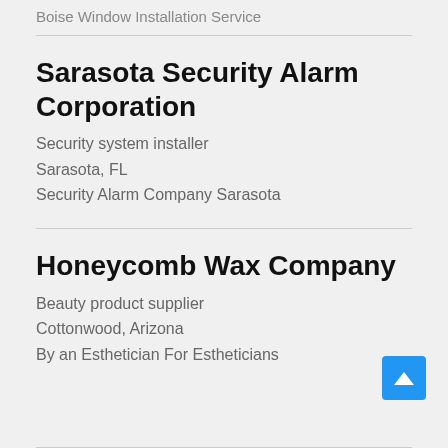Boise Window Installation Service
Sarasota Security Alarm Corporation
Security system installer
Sarasota, FL
Security Alarm Company Sarasota
Honeycomb Wax Company
Beauty product supplier
Cottonwood, Arizona
By an Esthetician For Estheticians